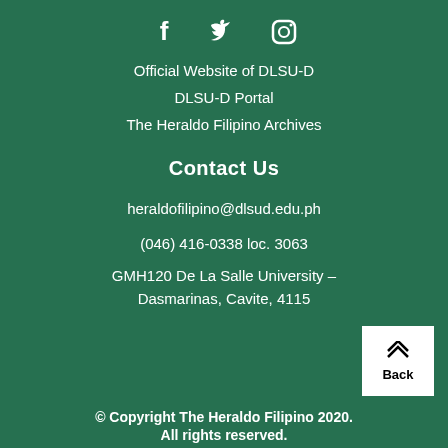[Figure (illustration): Three social media icons: Facebook (f), Twitter (bird), Instagram (camera)]
Official Website of DLSU-D
DLSU-D Portal
The Heraldo Filipino Archives
Contact Us
heraldofilipino@dlsud.edu.ph
(046) 416-0338 loc. 3063
GMH120 De La Salle University – Dasmarinas, Cavite, 4115
[Figure (illustration): Back button with upward chevron arrows and text 'Back']
© Copyright The Heraldo Filipino 2020. All rights reserved.